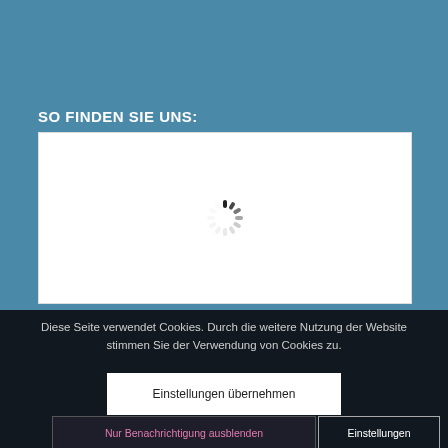SO FINDEN SIE UNS:
[Figure (map): Loading map with spinning loader indicator on white background]
Diese Seite verwendet Cookies. Durch die weitere Nutzung der Website stimmen Sie der Verwendung von Cookies zu.
Einstellungen übernehmen
Nur Benachrichtigung ausblenden
Einstellungen